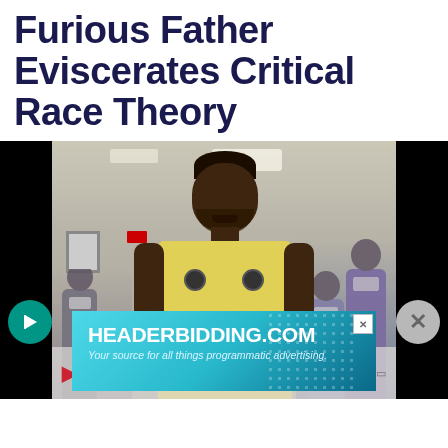Furious Father Eviscerates Critical Race Theory
[Figure (photo): Video screenshot of a Black man in a yellow t-shirt speaking passionately at what appears to be a school board meeting, with masked audience members visible in the background. A HEADERBIDDING.COM advertisement banner overlays the bottom of the video.]